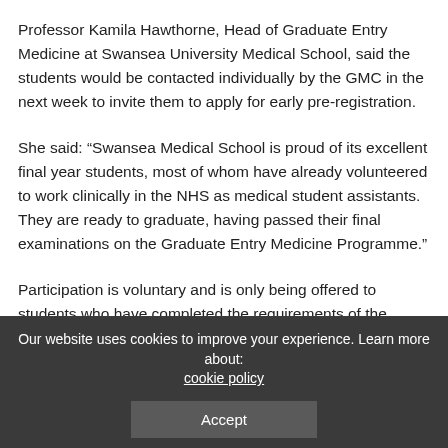Professor Kamila Hawthorne, Head of Graduate Entry Medicine at Swansea University Medical School, said the students would be contacted individually by the GMC in the next week to invite them to apply for early pre-registration.
She said: “Swansea Medical School is proud of its excellent final year students, most of whom have already volunteered to work clinically in the NHS as medical student assistants. They are ready to graduate, having passed their final examinations on the Graduate Entry Medicine Programme.”
Participation is voluntary and is only being offered to students who have completed the requirements of the programme they are studying on, passed the relevant summative assessments and the consent to co-operate of the...
Our website uses cookies to improve your experience. Learn more about: cookie policy
Accept